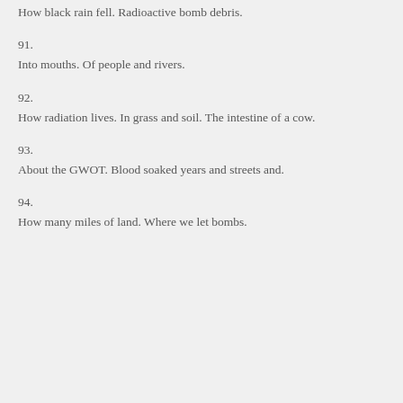How black rain fell. Radioactive bomb debris.
91.
Into mouths. Of people and rivers.
92.
How radiation lives. In grass and soil. The intestine of a cow.
93.
About the GWOT. Blood soaked years and streets and.
94.
How many miles of land. Where we let bombs.